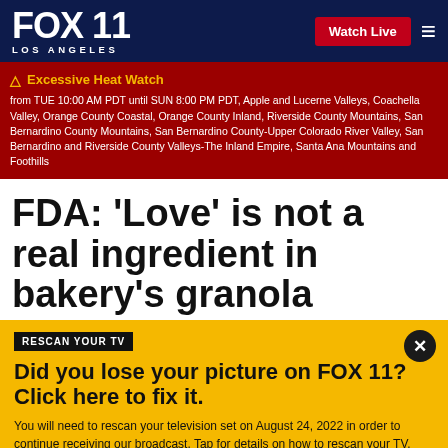FOX 11 LOS ANGELES | Watch Live
Excessive Heat Watch from TUE 10:00 AM PDT until SUN 8:00 PM PDT, Apple and Lucerne Valleys, Coachella Valley, Orange County Coastal, Orange County Inland, Riverside County Mountains, San Bernardino County Mountains, San Bernardino County-Upper Colorado River Valley, San Bernardino and Riverside County Valleys-The Inland Empire, Santa Ana Mountains and Foothills
FDA: 'Love' is not a real ingredient in bakery's granola
RESCAN YOUR TV
Did you lose your picture on FOX 11? Click here to fix it.
You will need to rescan your television set on August 24, 2022 in order to continue receiving our broadcast. Tap for details on how to rescan your TV.